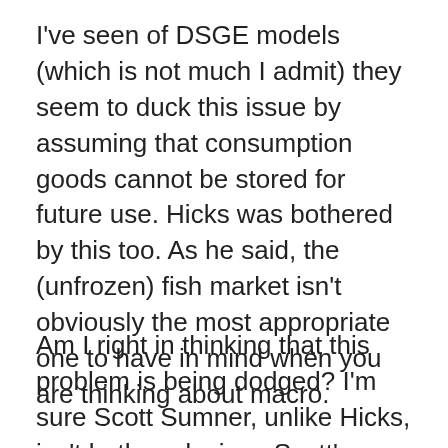I've seen of DSGE models (which is not much I admit) they seem to duck this issue by assuming that consumption goods cannot be stored for future use. Hicks was bothered by this too. As he said, the (unfrozen) fish market isn't obviously the most appropriate one to have in mind when you are thinking about macro.
Am I right in thinking that this problem is being dodged? I'm sure Scott Sumner, unlike Hicks, isn't bothered, since Scott's Keynes is full of it. But it bothers me because my